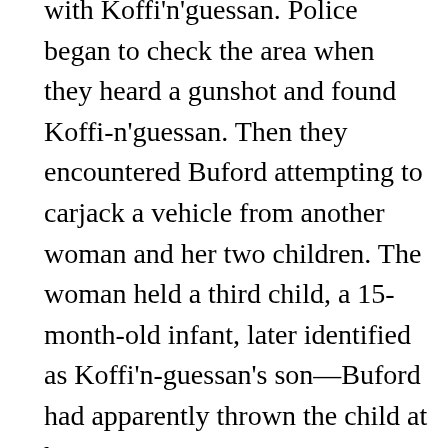with Koffi'n'guessan. Police began to check the area when they heard a gunshot and found Koffi-n'guessan. Then they encountered Buford attempting to carjack a vehicle from another woman and her two children. The woman held a third child, a 15-month-old infant, later identified as Koffi'n-guessan's son—Buford had apparently thrown the child at her.
Police were able to arrest Buford without incident.
“If you or someone you know is in a domestic violence situation, please know that you’re not alone and there are resources available to help you,” the West St. Paul Police Department shared on their Facebook page. They collaborate with